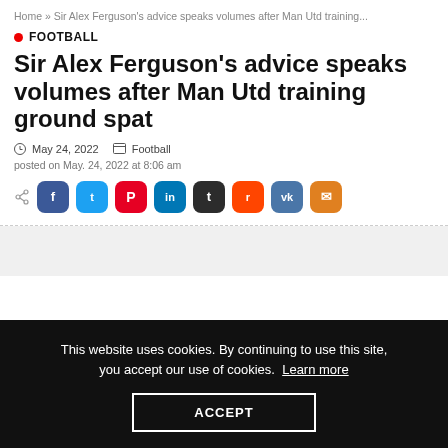Home » Sir Alex Ferguson's advice speaks volumes after Man Utd training...
FOOTBALL
Sir Alex Ferguson's advice speaks volumes after Man Utd training ground spat
May 24, 2022   Football
posted on May. 24, 2022 at 8:06 am
[Figure (other): Social share buttons: Facebook, Twitter, Pinterest, LinkedIn, Tumblr, Reddit, VK, Email]
This website uses cookies. By continuing to use this site, you accept our use of cookies. Learn more
ACCEPT